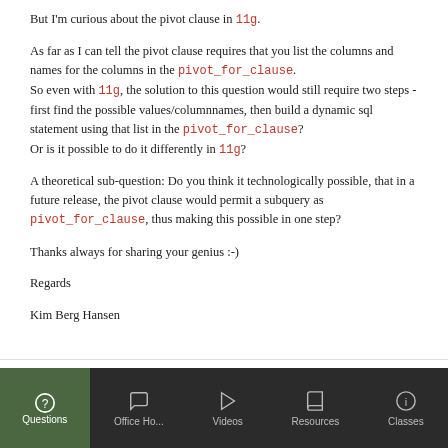But I'm curious about the pivot clause in 11g.
As far as I can tell the pivot clause requires that you list the columns and names for the columns in the pivot_for_clause.
So even with 11g, the solution to this question would still require two steps - first find the possible values/columnnames, then build a dynamic sql statement using that list in the pivot_for_clause?
Or is it possible to do it differently in 11g?
A theoretical sub-question: Do you think it technologically possible, that in a future release, the pivot clause would permit a subquery as pivot_for_clause, thus making this possible in one step?
Thanks always for sharing your genius :-)
Regards
Kim Berg Hansen
December 21, 2007 - 2:55 pm UTC
Questions | Office Ho... | Videos | Resources | Classes